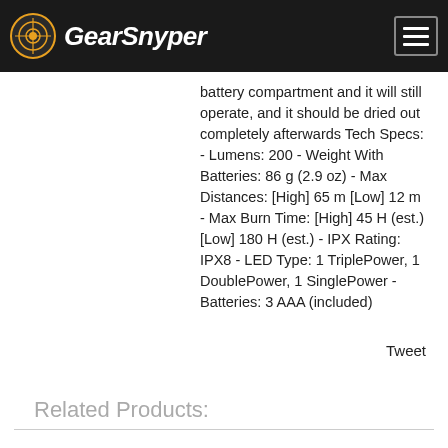GearSnyper
battery compartment and it will still operate, and it should be dried out completely afterwards Tech Specs: - Lumens: 200 - Weight With Batteries: 86 g (2.9 oz) - Max Distances: [High] 65 m [Low] 12 m - Max Burn Time: [High] 45 H (est.) [Low] 180 H (est.) - IPX Rating: IPX8 - LED Type: 1 TriplePower, 1 DoublePower, 1 SinglePower - Batteries: 3 AAA (included)
Tweet
Related Products: